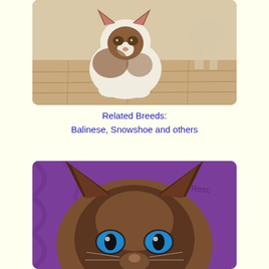[Figure (photo): A Siamese-mix cat with brown and white coloring sitting on a light wood floor, looking toward the camera. Another cat is partially visible in the background.]
Related Breeds:
Balinese, Snowshoe and others
[Figure (photo): Close-up face of a dark Siamese cat with striking blue eyes, against a purple fabric background with partial text 'se Resc' visible.]